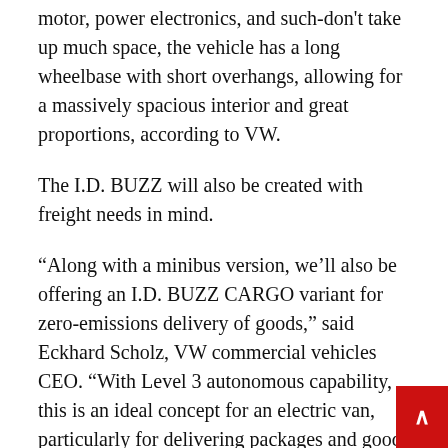motor, power electronics, and such-don't take up much space, the vehicle has a long wheelbase with short overhangs, allowing for a massively spacious interior and great proportions, according to VW.
The I.D. BUZZ will also be created with freight needs in mind.
“Along with a minibus version, we’ll also be offering an I.D. BUZZ CARGO variant for zero-emissions delivery of goods,” said Eckhard Scholz, VW commercial vehicles CEO. “With Level 3 autonomous capability, this is an ideal concept for an electric van, particularly for delivering packages and goods to the inner cities.”
The I.D. Buzz is the second EV concept that VW has revealed for production, along with the original I.D. concept slated to enter production around 2019 as a 2020 model, while the I.D. Crozz concept has shown how an electric VW SUV could look